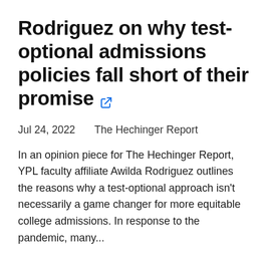Rodriguez on why test-optional admissions policies fall short of their promise
Jul 24, 2022    The Hechinger Report
In an opinion piece for The Hechinger Report, YPL faculty affiliate Awilda Rodriguez outlines the reasons why a test-optional approach isn't necessarily a game changer for more equitable college admissions. In response to the pandemic, many...